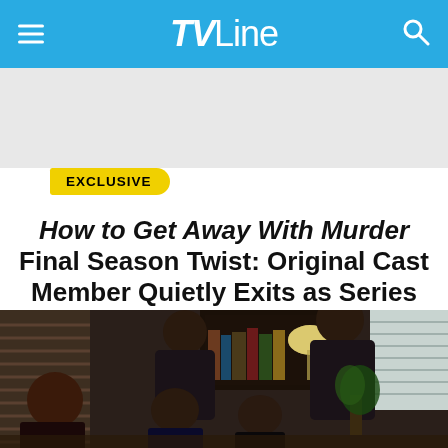TVLine
[Figure (other): Gray advertisement/banner placeholder area below the header]
EXCLUSIVE
How to Get Away With Murder Final Season Twist: Original Cast Member Quietly Exits as Series Regular
By Michael Ausiello / September 27 2019, 2:35 PM PDT
[Figure (photo): Cast members of How to Get Away With Murder huddled together over a table in a dimly lit room with bookshelves, a lamp, and blinds in the background.]